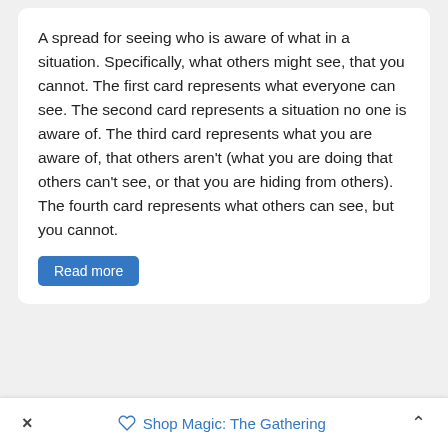A spread for seeing who is aware of what in a situation. Specifically, what others might see, that you cannot. The first card represents what everyone can see. The second card represents a situation no one is aware of. The third card represents what you are aware of, that others aren't (what you are doing that others can't see, or that you are hiding from others). The fourth card represents what others can see, but you cannot.
Read more
Advice for a Desired Outcome (7 Cards)
For advice on how to achieve a desired outcome: "What do I need to do, to achieve X?" The first card represents the situation. The remaining cards represent your mental, emotional and physical attitudes, and how they may need to change to achieve the outcome you want. Cards 2 and 3 represent your current mental state, and how your mental state might need to change. Cards 4 and 5 represent your emotional state and
× Shop Magic: The Gathering ^